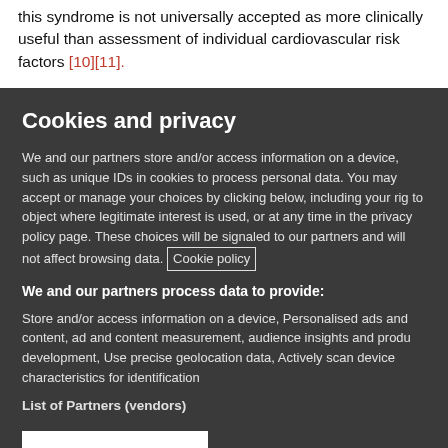this syndrome is not universally accepted as more clinically useful than assessment of individual cardiovascular risk factors [10][11].
Cookies and privacy
We and our partners store and/or access information on a device, such as unique IDs in cookies to process personal data. You may accept or manage your choices by clicking below, including your rig to object where legitimate interest is used, or at any time in the privacy policy page. These choices will be signaled to our partners and will not affect browsing data. Cookie policy
We and our partners process data to provide:
Store and/or access information on a device, Personalised ads and content, ad and content measurement, audience insights and produ development, Use precise geolocation data, Actively scan device characteristics for identification
List of Partners (vendors)
I Accept